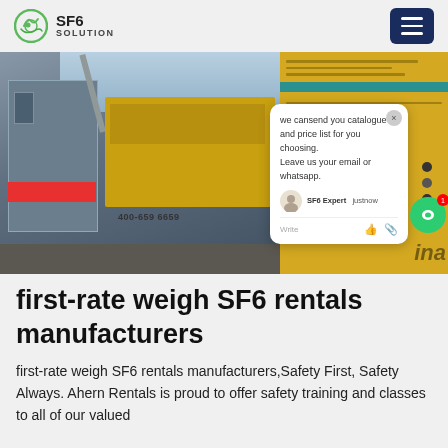SF6 SOLUTION
[Figure (photo): Industrial SF6 equipment on a yellow truck, with a chat popup overlay showing 'we can send you catalogue and price list for you choosing. Leave us your email or whatsapp.' SF6 Expert just now, Write input field.]
first-rate weigh SF6 rentals manufacturers
first-rate weigh SF6 rentals manufacturers,Safety First, Safety Always. Ahern Rentals is proud to offer safety training and classes to all of our valued